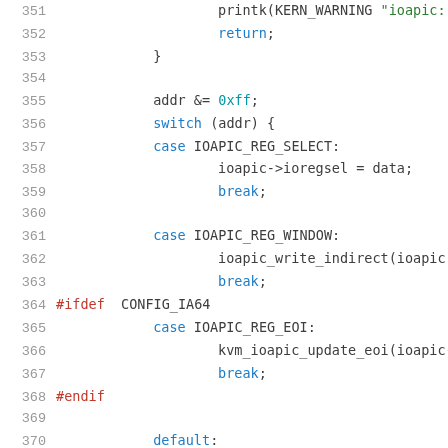Source code listing lines 351-371, kernel IOAPIC write handler in C
351: printk(KERN_WARNING "ioapic: Uns
352: return;
353: }
354: (blank)
355: addr &= 0xff;
356: switch (addr) {
357: case IOAPIC_REG_SELECT:
358: ioapic->ioregsel = data;
359: break;
360: (blank)
361: case IOAPIC_REG_WINDOW:
362: ioapic_write_indirect(ioapic, da
363: break;
364: #ifdef CONFIG_IA64
365: case IOAPIC_REG_EOI:
366: kvm_ioapic_update_eoi(ioapic->kv
367: break;
368: #endif
369: (blank)
370: default:
371: break;